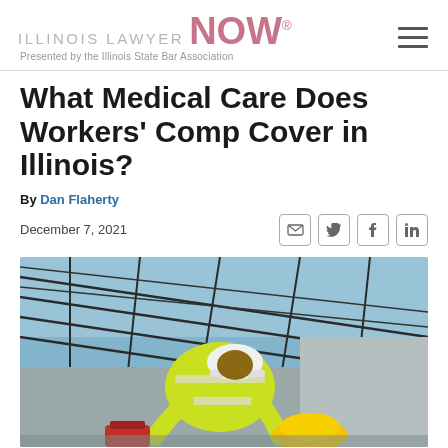ILLINOIS LAWYER NOW® — Presented by the Illinois State Bar Association
What Medical Care Does Workers' Comp Cover in Illinois?
By Dan Flaherty
December 7, 2021
[Figure (photo): A construction worker wearing a neon yellow/green high-visibility jacket and white hard hat bends down at a construction site. Steel roof framework and sky are visible above. A yellow hard hat and red bag are on the ground nearby.]